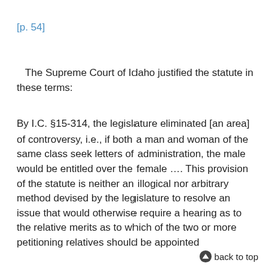[p. 54]
The Supreme Court of Idaho justified the statute in these terms:
By I.C. §15-314, the legislature eliminated [an area] of controversy, i.e., if both a man and woman of the same class seek letters of administration, the male would be entitled over the female …. This provision of the statute is neither an illogical nor arbitrary method devised by the legislature to resolve an issue that would otherwise require a hearing as to the relative merits as to which of the two or more petitioning relatives should be appointed
back to top